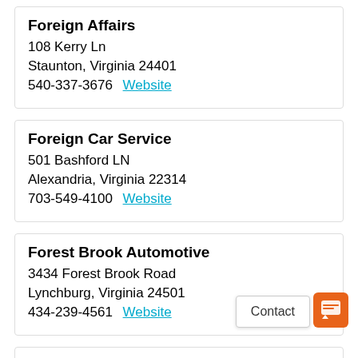Foreign Affairs
108 Kerry Ln
Staunton, Virginia 24401
540-337-3676   Website
Foreign Car Service
501 Bashford LN
Alexandria, Virginia 22314
703-549-4100   Website
Forest Brook Automotive
3434 Forest Brook Road
Lynchburg, Virginia 24501
434-239-4561   Website
Forza Automotive